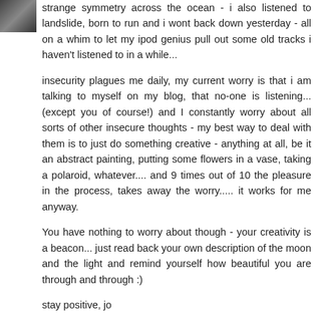[Figure (photo): Small avatar/profile image thumbnail in top-left corner]
strange symmetry across the ocean - i also listened to landslide, born to run and i wont back down yesterday - all on a whim to let my ipod genius pull out some old tracks i haven't listened to in a while...
insecurity plagues me daily, my current worry is that i am talking to myself on my blog, that no-one is listening... (except you of course!) and I constantly worry about all sorts of other insecure thoughts - my best way to deal with them is to just do something creative - anything at all, be it an abstract painting, putting some flowers in a vase, taking a polaroid, whatever.... and 9 times out of 10 the pleasure in the process, takes away the worry..... it works for me anyway.
You have nothing to worry about though - your creativity is a beacon... just read back your own description of the moon and the light and remind yourself how beautiful you are through and through :)
stay positive, jo
Reply